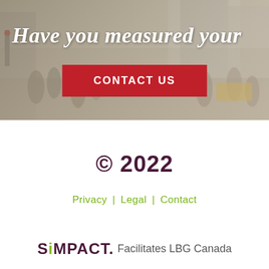[Figure (photo): Blurred city street scene with pedestrians, buildings, and vehicles. White italic bold text overlay reads 'Have you measured your'. A red button labeled 'CONTACT US' is centered in the lower portion of the image.]
© 2022
Privacy | Legal | Contact
[Figure (logo): SiMPACT. Facilitates LBG Canada logo. 'SiMPACT.' in dark purple bold with a green dot on the 'i', followed by 'Facilitates LBG Canada' in grey.]